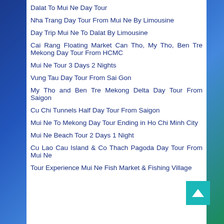Dalat To Mui Ne Day Tour
Nha Trang Day Tour From Mui Ne By Limousine
Day Trip Mui Ne To Dalat By Limousine
Cai Rang Floating Market Can Tho, My Tho, Ben Tre Mekong Day Tour From HCMC
Mui Ne Tour 3 Days 2 Nights
Vung Tau Day Tour From Sai Gon
My Tho and Ben Tre Mekong Delta Day Tour From Saigon
Cu Chi Tunnels Half Day Tour From Saigon
Mui Ne To Mekong Day Tour Ending in Ho Chi Minh City
Mui Ne Beach Tour 2 Days 1 Night
Cu Lao Cau Island & Co Thach Pagoda Day Tour From Mui Ne
Tour Experience Mui Ne Fish Market & Fishing Village